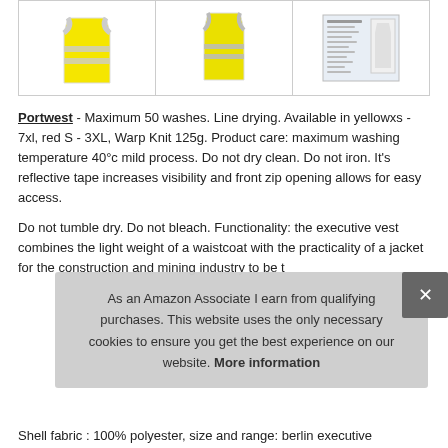[Figure (photo): Three product images in a row: two yellow high-visibility safety vests and one product label/spec sheet]
Portwest - Maximum 50 washes. Line drying. Available in yellowxs - 7xl, red S - 3XL, Warp Knit 125g. Product care: maximum washing temperature 40°c mild process. Do not dry clean. Do not iron. It's reflective tape increases visibility and front zip opening allows for easy access.
Do not tumble dry. Do not bleach. Functionality: the executive vest combines the light weight of a waistcoat with the practicality of a jacket for the construction and mining industry to be t
As an Amazon Associate I earn from qualifying purchases. This website uses the only necessary cookies to ensure you get the best experience on our website. More information
Shell fabric : 100% polyester, size and range: berlin executive